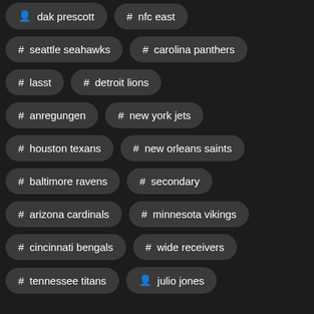👤 dak prescott
# nfc east
# seattle seahawks
# carolina panthers
# lasst
# detroit lions
# anregungen
# new york jets
# houston texans
# new orleans saints
# baltimore ravens
# secondary
# arizona cardinals
# minnesota vikings
# cincinnati bengals
# wide receivers
# tennessee titans
👤 julio jones